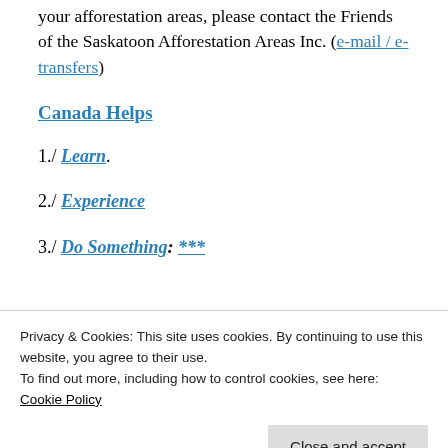your afforestation areas, please contact the Friends of the Saskatoon Afforestation Areas Inc. (e-mail / e-transfers)
Canada Helps
1./ Learn.
2./ Experience
3./ Do Something: ***
Privacy & Cookies: This site uses cookies. By continuing to use this website, you agree to their use.
To find out more, including how to control cookies, see here:
Cookie Policy
Close and accept
benefits all – Wangari Maathai